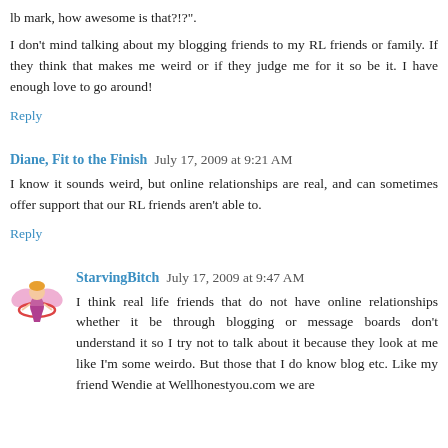lb mark, how awesome is that?!?".
I don't mind talking about my blogging friends to my RL friends or family. If they think that makes me weird or if they judge me for it so be it. I have enough love to go around!
Reply
Diane, Fit to the Finish  July 17, 2009 at 9:21 AM
I know it sounds weird, but online relationships are real, and can sometimes offer support that our RL friends aren't able to.
Reply
StarvingBitch  July 17, 2009 at 9:47 AM
I think real life friends that do not have online relationships whether it be through blogging or message boards don't understand it so I try not to talk about it because they look at me like I'm some weirdo. But those that I do know blog etc. Like my friend Wendie at Wellhonestyou.com we are